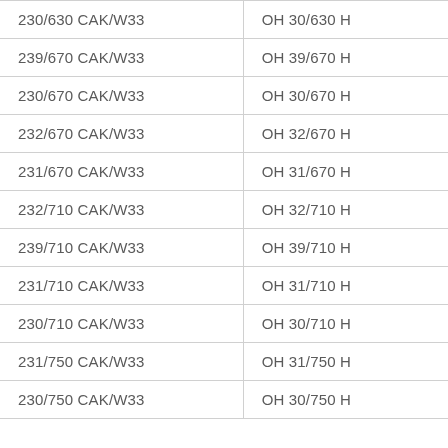| 230/630 CAK/W33 | OH 30/630 H |
| 239/670 CAK/W33 | OH 39/670 H |
| 230/670 CAK/W33 | OH 30/670 H |
| 232/670 CAK/W33 | OH 32/670 H |
| 231/670 CAK/W33 | OH 31/670 H |
| 232/710 CAK/W33 | OH 32/710 H |
| 239/710 CAK/W33 | OH 39/710 H |
| 231/710 CAK/W33 | OH 31/710 H |
| 230/710 CAK/W33 | OH 30/710 H |
| 231/750 CAK/W33 | OH 31/750 H |
| 230/750 CAK/W33 | OH 30/750 H |